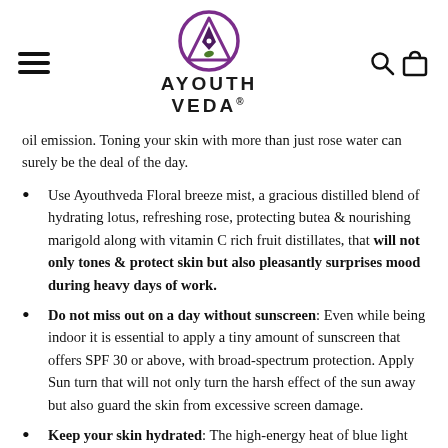[Figure (logo): Ayouthveda logo with purple circular emblem and brand name]
oil emission. Toning your skin with more than just rose water can surely be the deal of the day.
Use Ayouthveda Floral breeze mist, a gracious distilled blend of hydrating lotus, refreshing rose, protecting butea & nourishing marigold along with vitamin C rich fruit distillates, that will not only tones & protect skin but also pleasantly surprises mood during heavy days of work.
Do not miss out on a day without sunscreen: Even while being indoor it is essential to apply a tiny amount of sunscreen that offers SPF 30 or above, with broad-spectrum protection. Apply Sun turn that will not only turn the harsh effect of the sun away but also guard the skin from excessive screen damage.
Keep your skin hydrated: The high-energy heat of blue light